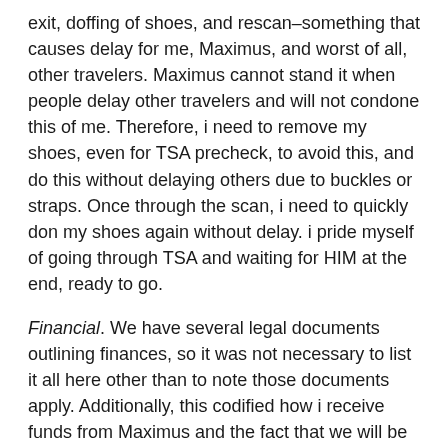exit, doffing of shoes, and rescan–something that causes delay for me, Maximus, and worst of all, other travelers. Maximus cannot stand it when people delay other travelers and will not condone this of me. Therefore, i need to remove my shoes, even for TSA precheck, to avoid this, and do this without delaying others due to buckles or straps. Once through the scan, i need to quickly don my shoes again without delay. i pride myself of going through TSA and waiting for HIM at the end, ready to go.
Financial. We have several legal documents outlining finances, so it was not necessary to list it all here other than to note those documents apply. Additionally, this codified how i receive funds from Maximus and the fact that we will be working on a monthly budget, something i have requested since i moved in.